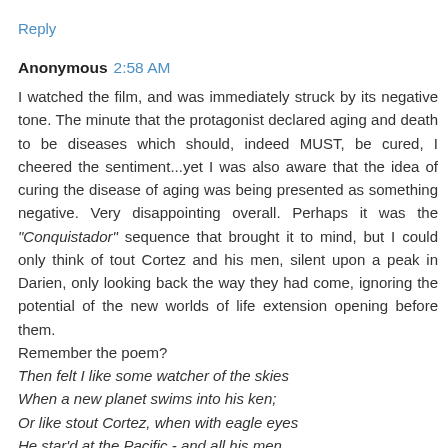Reply
Anonymous 2:58 AM
I watched the film, and was immediately struck by its negative tone. The minute that the protagonist declared aging and death to be diseases which should, indeed MUST, be cured, I cheered the sentiment...yet I was also aware that the idea of curing the disease of aging was being presented as something negative. Very disappointing overall. Perhaps it was the "Conquistador" sequence that brought it to mind, but I could only think of tout Cortez and his men, silent upon a peak in Darien, only looking back the way they had come, ignoring the potential of the new worlds of life extension opening before them.
Remember the poem?
Then felt I like some watcher of the skies
When a new planet swims into his ken;
Or like stout Cortez, when with eagle eyes
He star'd at the Pacific - and all his men
Look'd at each other with a wild surmise -
Silent, upon a peak in Darien.